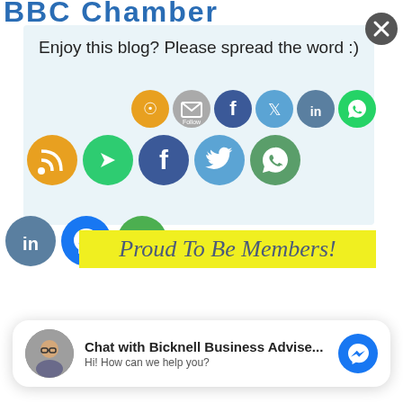[Figure (screenshot): Partial BBC Chamber logo/text header in blue, cut off at top]
[Figure (infographic): Social sharing popup box with text 'Enjoy this blog? Please spread the word :)' and multiple social media icon circles (RSS, Share, Facebook, Twitter, WhatsApp, LinkedIn, WeChat, Messenger) in two rows, overlaid on light blue background. Close button (X) at top right.]
[Figure (infographic): Yellow banner with italic text 'Proud To Be Members!' in blue-grey cursive font]
[Figure (infographic): Facebook Messenger chat widget at bottom with avatar photo of a man with glasses, bold text 'Chat with Bicknell Business Advise...' and subtitle 'Hi! How can we help you?' with blue messenger icon button]